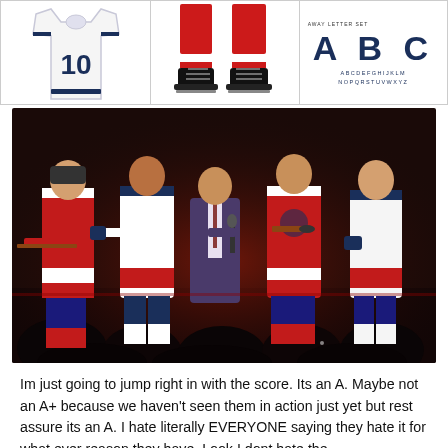[Figure (photo): Three panel image showing Florida Panthers hockey jerseys and gear. Left panel: white jersey with number 10. Middle panel: Florida Panthers ice skates and lower jerseys. Right panel: 'Away Letter Set' typography showing large A B C letters in navy blue with full alphabet below.]
[Figure (photo): Photo of Florida Panthers players and a presenter on stage. Players wearing red and white Panthers jerseys. A man in a suit holds a microphone. Dark audience silhouettes visible in the foreground with red stage lighting.]
Im just going to jump right in with the score. Its an A. Maybe not an A+ because we haven't seen them in action just yet but rest assure its an A. I hate literally EVERYONE saying they hate it for what ever reason they have. Look I dont hate the